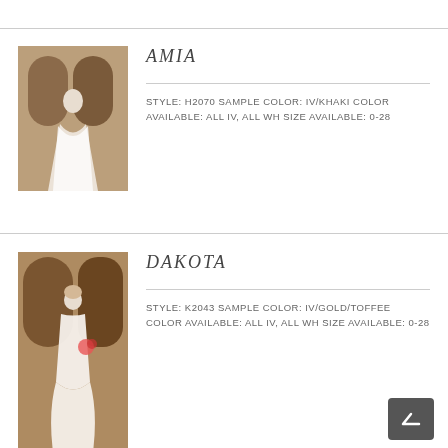[Figure (photo): Bride wearing AMIA wedding gown, a white ballgown, standing in an archway interior setting.]
AMIA
STYLE: H2070 SAMPLE COLOR: IV/KHAKI COLOR AVAILABLE: ALL IV, ALL WH SIZE AVAILABLE: 0-28
[Figure (photo): Bride wearing DAKOTA wedding gown, a fitted white mermaid dress, standing in an ornate interior with a bouquet.]
DAKOTA
STYLE: K2043 SAMPLE COLOR: IV/GOLD/TOFFEE COLOR AVAILABLE: ALL IV, ALL WH SIZE AVAILABLE: 0-28